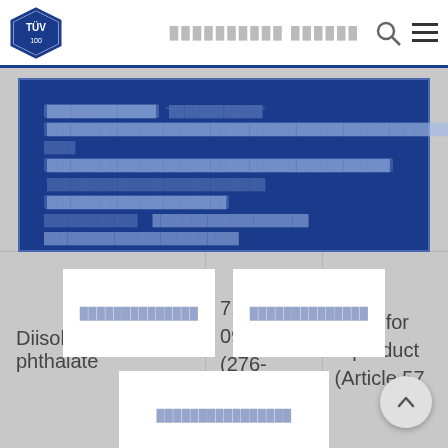[Figure (screenshot): TÜV logo in top left navigation bar with search and menu icons]
Cookie consent modal with blurred/redacted text and three buttons: two side by side and one centered below
Diisohexyl phthalate
71850-09-4 (276-090-2)
Toxic for reproduct (Article 57